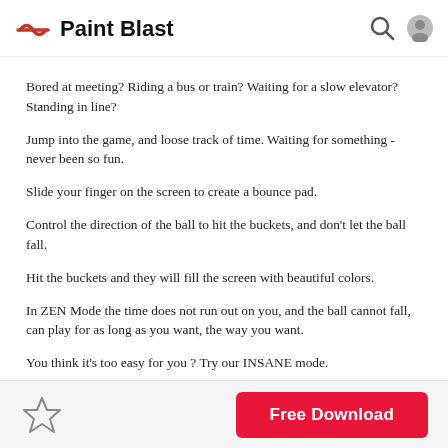Paint Blast
Bored at meeting? Riding a bus or train? Waiting for a slow elevator? Standing in line?
Jump into the game, and loose track of time. Waiting for something - never been so fun.
Slide your finger on the screen to create a bounce pad.
Control the direction of the ball to hit the buckets, and don't let the ball fall.
Hit the buckets and they will fill the screen with beautiful colors.
In ZEN Mode the time does not run out on you, and the ball cannot fall, can play for as long as you want, the way you want.
You think it's too easy for you ? Try our INSANE mode.
Challenge your friends, collect achievements and see your global ranking with Scoreloop.
PaintBlast has been developed with cocos2d-x and Box2D.
Reviews:
"I was playing this game from the very first build, and I'm still loving it"
- Brother of Developer B
"Best game on the market... best game on all the markets... best game